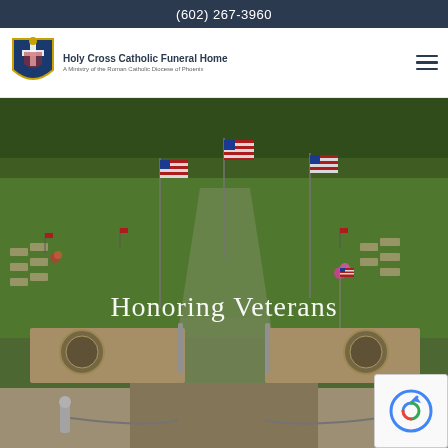(602) 267-3960
[Figure (logo): Holy Cross Catholic Funeral Home logo with shield/crest icon and text 'Holy Cross Catholic Funeral Home — A Ministry of the Roman Catholic Diocese of Phoenix']
[Figure (photo): Aerial view of a veteran cemetery with American flags lining rows of grave markers, green lawn, flagpoles, and an entrance gateway with military branch emblems. Text overlay reads 'Honoring Veterans'.]
[Figure (other): Google reCAPTCHA badge in bottom right corner]